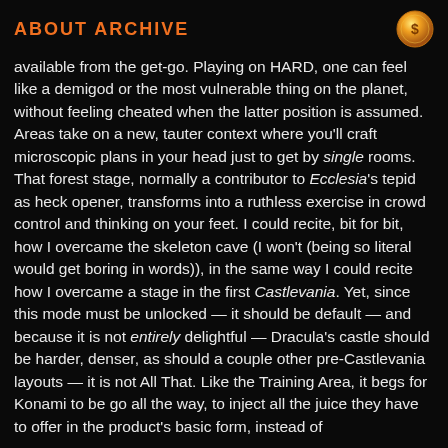ABOUT ARCHIVE
available from the get-go. Playing on HARD, one can feel like a demigod or the most vulnerable thing on the planet, without feeling cheated when the latter position is assumed. Areas take on a new, tauter context where you'll craft microscopic plans in your head just to get by single rooms. That forest stage, normally a contributor to Ecclesia's tepid as heck opener, transforms into a ruthless exercise in crowd control and thinking on your feet. I could recite, bit for bit, how I overcame the skeleton cave (I won't (being so literal would get boring in words)), in the same way I could recite how I overcame a stage in the first Castlevania. Yet, since this mode must be unlocked — it should be default — and because it is not entirely delightful — Dracula's castle should be harder, denser, as should a couple other pre-Castlevania layouts — it is not All That. Like the Training Area, it begs for Konami to be go all the way, to inject all the juice they have to offer in the product's basic form, instead of